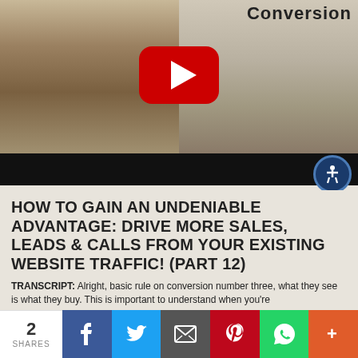[Figure (screenshot): YouTube video thumbnail showing a man in a beige blazer smiling, with a room and ocean view in background. Red YouTube play button overlay in center. Text 'CONVERSION' in handwritten style at top right. Video control bar at bottom with accessibility icon.]
HOW TO GAIN AN UNDENIABLE ADVANTAGE: DRIVE MORE SALES, LEADS & CALLS FROM YOUR EXISTING WEBSITE TRAFFIC! (PART 12)
TRANSCRIPT: Alright, basic rule on conversion number three, what they see is what they buy. This is important to understand when you're
2 SHARES